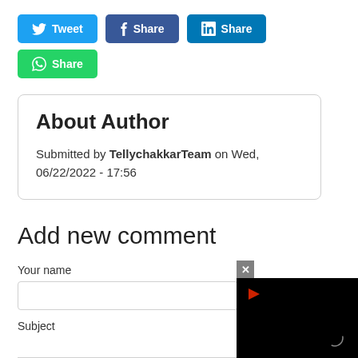[Figure (other): Social share buttons row 1: Tweet (Twitter, light blue), Share (Facebook, dark blue), Share (LinkedIn, medium blue)]
[Figure (other): Social share button row 2: Share (WhatsApp, green)]
About Author
Submitted by TellychakkarTeam on Wed, 06/22/2022 - 17:56
Add new comment
Your name
Subject
[Figure (other): Video player overlay in black with red play arrow icon and loading circle, and a grey X close button]